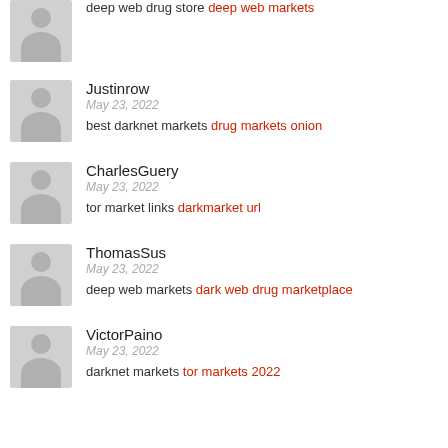deep web drug store deep web markets
Justinrow
May 23, 2022
best darknet markets drug markets onion
CharlesGuery
May 23, 2022
tor market links darkmarket url
ThomasSus
May 23, 2022
deep web markets dark web drug marketplace
VictorPaino
May 23, 2022
darknet markets tor markets 2022